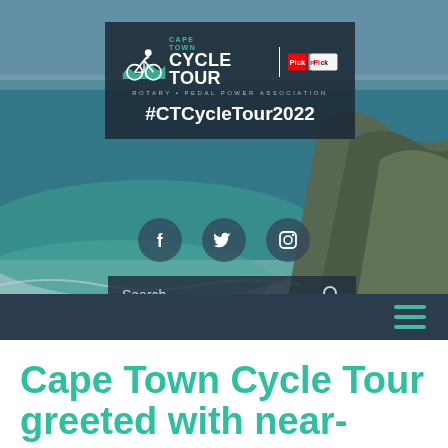[Figure (screenshot): Website header screenshot for Cape Town Cycle Tour (Pick n Pay sponsored by Rotary and Pedal Power Association) showing coastal background photo, logo panel with #CTCycleTour2022 hashtag, social media icons (Facebook, Twitter, Instagram), search bar, and navigation menu bar.]
Cape Town Cycle Tour greeted with near-